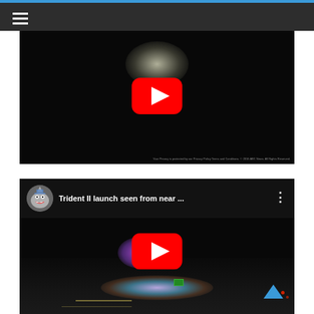Navigation menu header with hamburger icon and blue top bar
[Figure (screenshot): YouTube video embed showing dark sky with bright glowing light (UFO/missile sighting), YouTube play button centered, copyright text at bottom right]
[Figure (screenshot): YouTube video embed titled 'Trident II launch seen from near ...' with channel avatar of shark character, three-dot menu, YouTube play button, and dashcam footage of highway with colorful light burst from missile launch visible on road surface]